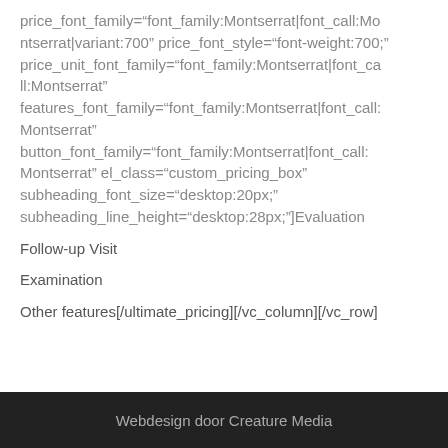price_font_family="font_family:Montserrat|font_call:Montserrat|variant:700" price_font_style="font-weight:700;" price_unit_font_family="font_family:Montserrat|font_call:Montserrat" features_font_family="font_family:Montserrat|font_call:Montserrat" button_font_family="font_family:Montserrat|font_call:Montserrat" el_class="custom_pricing_box" subheading_font_size="desktop:20px;" subheading_line_height="desktop:28px;"]Evaluation
Follow-up Visit
Examination
Other features[/ultimate_pricing][/vc_column][/vc_row]
Webdesign door Creature Media